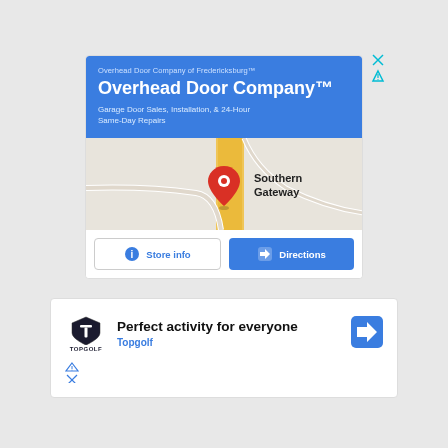[Figure (screenshot): Google ad for Overhead Door Company of Fredericksburg with blue header, map showing Southern Gateway location, and Store info / Directions buttons]
[Figure (screenshot): Google ad for Topgolf with logo, text 'Perfect activity for everyone', brand name 'Topgolf', and a direction arrow icon]